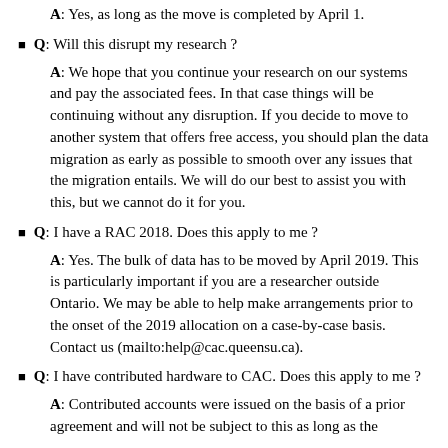A: Yes, as long as the move is completed by April 1.
Q: Will this disrupt my research ?
A: We hope that you continue your research on our systems and pay the associated fees. In that case things will be continuing without any disruption. If you decide to move to another system that offers free access, you should plan the data migration as early as possible to smooth over any issues that the migration entails. We will do our best to assist you with this, but we cannot do it for you.
Q: I have a RAC 2018. Does this apply to me ?
A: Yes. The bulk of data has to be moved by April 2019. This is particularly important if you are a researcher outside Ontario. We may be able to help make arrangements prior to the onset of the 2019 allocation on a case-by-case basis. Contact us (mailto:help@cac.queensu.ca).
Q: I have contributed hardware to CAC. Does this apply to me ?
A: Contributed accounts were issued on the basis of a prior agreement and will not be subject to this as long as the